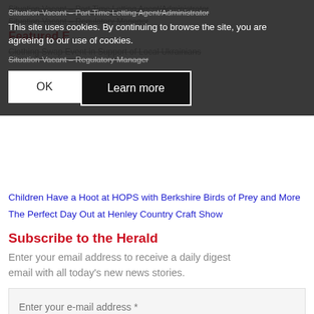Situation Vacant – Part Time Letting Agent/Administrator
This site uses cookies. By continuing to browse the site, you are agreeing to our use of cookies.
Situation Vacant – Regulatory Manager
OK
Learn more
Featured E[vents]
Clothing Swap Event in Support of Local Ukrainians
Children Have a Hoot at HOPS with Berkshire Birds of Prey and More
The Perfect Day Out at Henley Country Craft Show
Subscribe to the Herald
Enter your email address to receive a daily digest email with all today's new news stories.
Enter your e-mail address *
Subscribe!
News Archive by Month